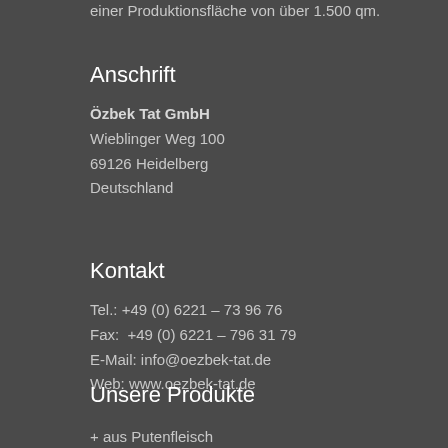einer Produktionsfläche von über 1.500 qm.
Anschrift
Özbek Tat GmbH
Wieblinger Weg 100
69126 Heidelberg
Deutschland
Kontakt
Tel.: +49 (0) 6221 – 73 96 76
Fax:  +49 (0) 6221 – 796 31 79
E-Mail: info@oezbek-tat.de
Web: www.oezbek-tat.de
Unsere Produkte
+ aus Putenfleisch